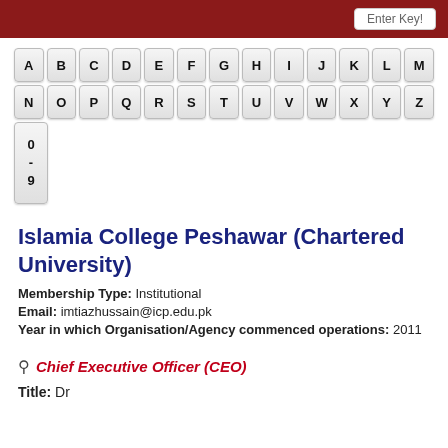Enter Key!
[Figure (other): Alphabetical and numeric keyboard/index navigation buttons: A-M on first row, N-Z on second row, 0-9 on third row]
Islamia College Peshawar (Chartered University)
Membership Type: Institutional
Email: imtiazhussain@icp.edu.pk
Year in which Organisation/Agency commenced operations: 2011
Chief Executive Officer (CEO)
Title: Dr